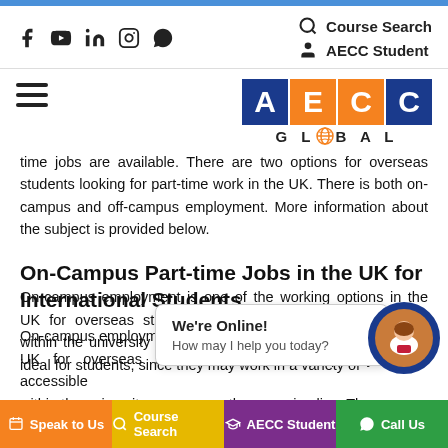Course Search | AECC Student
[Figure (logo): AECC Global logo with colored letter boxes A(blue) E(orange) C(orange) C(blue) and GLOBAL text below]
time jobs are available. There are two options for overseas students looking for part-time work in the UK. There is both on-campus and off-campus employment. More information about the subject is provided below.
On-Campus Part-time Jobs in the UK for International Students
On-campus employment is one of the working options in the UK for overseas students. On-campus jobs are accessible within the university campus, as the name implies. These are ideal for students, since they may work in a variety of
[Figure (screenshot): Chat popup with 'We're Online! How may I help you today?' and avatar icon]
Speak to Us | Course Search | AECC Student | Call Us